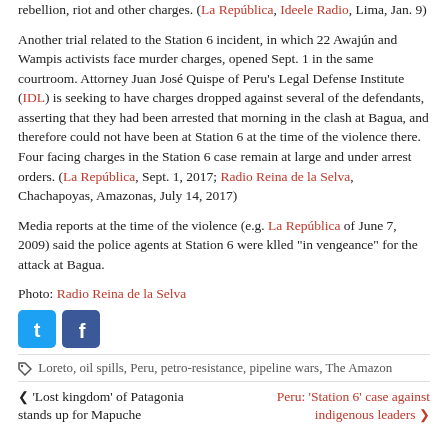rebellion, riot and other charges. (La República, Ideele Radio, Lima, Jan. 9)
Another trial related to the Station 6 incident, in which 22 Awajún and Wampis activists face murder charges, opened Sept. 1 in the same courtroom. Attorney Juan José Quispe of Peru's Legal Defense Institute (IDL) is seeking to have charges dropped against several of the defendants, asserting that they had been arrested that morning in the clash at Bagua, and therefore could not have been at Station 6 at the time of the violence there. Four facing charges in the Station 6 case remain at large and under arrest orders. (La República, Sept. 1, 2017; Radio Reina de la Selva, Chachapoyas, Amazonas, July 14, 2017)
Media reports at the time of the violence (e.g. La República of June 7, 2009) said the police agents at Station 6 were klled "in vengeance" for the attack at Bagua.
Photo: Radio Reina de la Selva
[Figure (other): Twitter and Facebook social sharing icons]
Loreto, oil spills, Peru, petro-resistance, pipeline wars, The Amazon
'Lost kingdom' of Patagonia stands up for Mapuche... | Peru: 'Station 6' case against indigenous leaders...